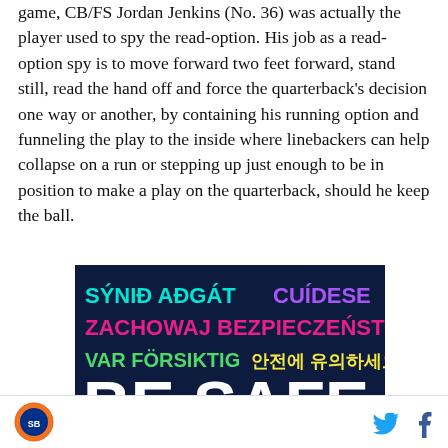game, CB/FS Jordan Jenkins (No. 36) was actually the player used to spy the read-option. His job as a read-option spy is to move forward two feet forward, stand still, read the hand off and force the quarterback's decision one way or another, by containing his running option and funneling the play to the inside where linebackers can help collapse on a run or stepping up just enough to be in position to make a play on the quarterback, should he keep the ball.
[Figure (illustration): Advertisement banner with dark navy background showing multilingual text: 'SÝNIĐ AÐGÁT' in cyan, 'CUÍDESE' in purple, 'ZACHOWAJ BEZPIECZEŃSTWO' in pink/magenta, 'VAR FÖRSIKTIG' in green, '안전에 유의하세요' in yellow, and large white text 'BE SAFE' at the bottom.]
Logo icon | Twitter icon | Facebook icon